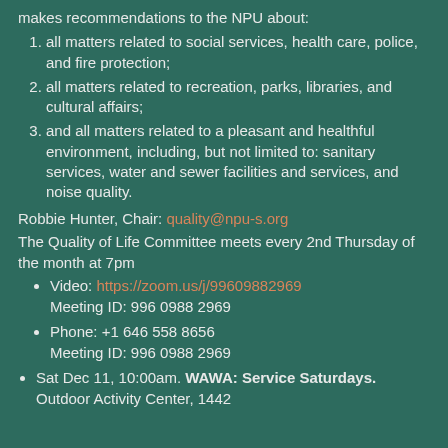makes recommendations to the NPU about:
all matters related to social services, health care, police, and fire protection;
all matters related to recreation, parks, libraries, and cultural affairs;
and all matters related to a pleasant and healthful environment, including, but not limited to: sanitary services, water and sewer facilities and services, and noise quality.
Robbie Hunter, Chair: quality@npu-s.org
The Quality of Life Committee meets every 2nd Thursday of the month at 7pm
Video: https://zoom.us/j/99609882969 Meeting ID: 996 0988 2969
Phone: +1 646 558 8656 Meeting ID: 996 0988 2969
Sat Dec 11, 10:00am. WAWA: Service Saturdays. Outdoor Activity Center, 1442